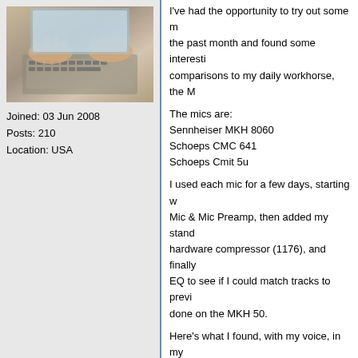[Figure (photo): Forum user avatar showing hands on a laptop keyboard]
Joined: 03 Jun 2008
Posts: 210
Location: USA
I've had the opportunity to try out some m the past month and found some interesti comparisons to my daily workhorse, the M

The mics are:
Sennheiser MKH 8060
Schoeps CMC 641
Schoeps Cmit 5u

I used each mic for a few days, starting w Mic & Mic Preamp, then added my stand hardware compressor (1176), and finally EQ to see if I could match tracks to previ done on the MKH 50.

Here's what I found, with my voice, in my using 3 different pre amps...
Fearn, Neve, BAE

Week 1 - Schoeps Cmit 5u.
This Schoeps sounds great for VO witho engaging any of the frequency control op don't see a scenario where those would a used and many mic preamps have the sa frequency cuts so, for a VO application,